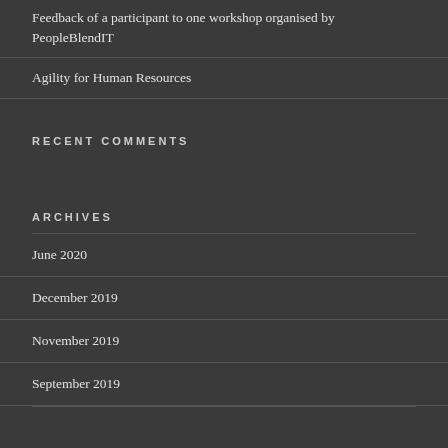Feedback of a participant to one workshop organised by PeopleBlendIT
Agility for Human Resources
RECENT COMMENTS
ARCHIVES
June 2020
December 2019
November 2019
September 2019